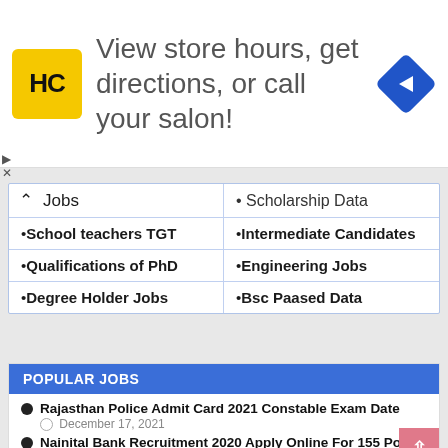[Figure (infographic): Advertisement banner with HC logo (yellow square), text 'View store hours, get directions, or call your salon!', and a blue diamond navigation arrow icon]
| Jobs | Scholarship Data |
| --- | --- |
| • School teachers TGT | • Intermediate Candidates |
| • Qualifications of PhD | • Engineering Jobs |
| • Degree Holder Jobs | • Bsc Paased Data |
POPULAR JOBS
Rajasthan Police Admit Card 2021 Constable Exam Date  December 17, 2021
Nainital Bank Recruitment 2020 Apply Online For 155 Post  August 30, 2020